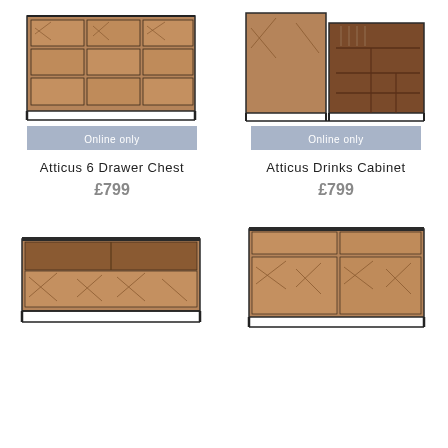[Figure (photo): Atticus 6 Drawer Chest - wooden chest with geometric patterned drawer fronts on black metal frame]
Online only
Atticus 6 Drawer Chest
£799
[Figure (photo): Atticus Drinks Cabinet - wooden cabinet with geometric patterned doors open showing interior shelving and wine rack, on black metal frame]
Online only
Atticus Drinks Cabinet
£799
[Figure (photo): Atticus TV unit - low wooden media unit with geometric patterned lower doors and open shelf above on black metal frame]
[Figure (photo): Atticus sideboard - wide wooden sideboard with geometric patterned lower doors and drawers above on black metal frame]